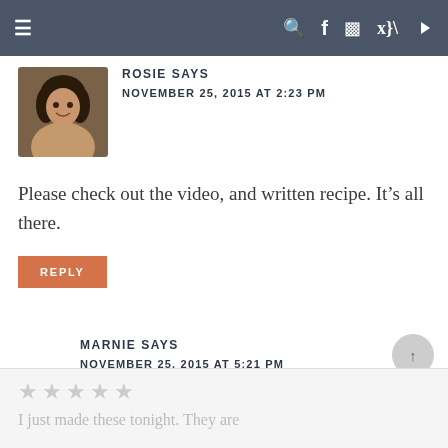≡  🔍 f 📷 𝐩 ▶
ROSIE SAYS
NOVEMBER 25, 2015 AT 2:23 PM
Please check out the video, and written recipe. It's all there.
REPLY
MARNIE SAYS
NOVEMBER 25, 2015 AT 5:21 PM
I just made these tonight. They are